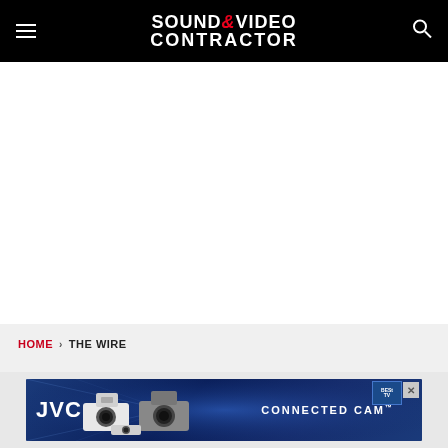Sound & Video Contractor
HOME › THE WIRE
[Figure (screenshot): JVC Connected Cam advertisement banner with cameras on blue background]